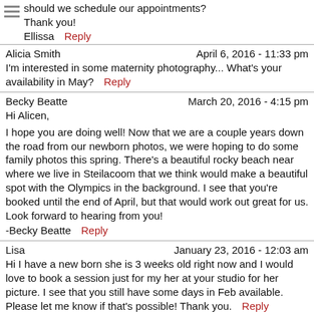should we schedule our appointments?
Thank you!
Ellissa  Reply
Alicia Smith    April 6, 2016 - 11:33 pm
I'm interested in some maternity photography... What's your availability in May?  Reply
Becky Beatte    March 20, 2016 - 4:15 pm
Hi Alicen,
I hope you are doing well! Now that we are a couple years down the road from our newborn photos, we were hoping to do some family photos this spring. There's a beautiful rocky beach near where we live in Steilacoom that we think would make a beautiful spot with the Olympics in the background. I see that you're booked until the end of April, but that would work out great for us. Look forward to hearing from you!
-Becky Beatte  Reply
Lisa    January 23, 2016 - 12:03 am
Hi I have a new born she is 3 weeks old right now and I would love to book a session just for my her at your studio for her picture. I see that you still have some days in Feb available. Please let me know if that's possible! Thank you.  Reply
Rinku Agrawal    December 16, 2015 - 10:58 pm